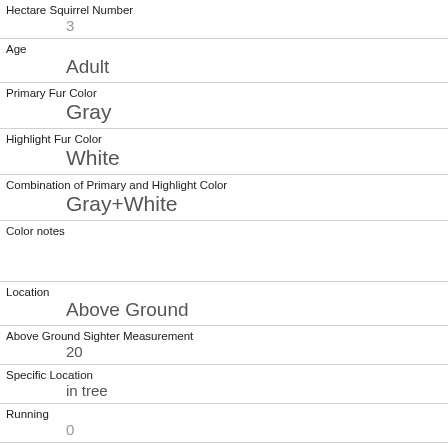| Hectare Squirrel Number | 3 |
| Age | Adult |
| Primary Fur Color | Gray |
| Highlight Fur Color | White |
| Combination of Primary and Highlight Color | Gray+White |
| Color notes |  |
| Location | Above Ground |
| Above Ground Sighter Measurement | 20 |
| Specific Location | in tree |
| Running | 0 |
| Chasing |  |